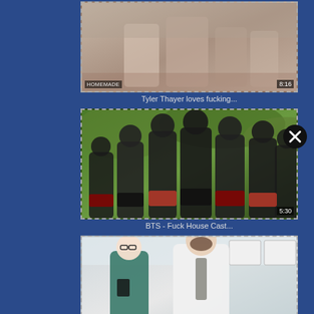[Figure (screenshot): Video thumbnail 1: partial view, light skin tones, outdoor/indoor setting. Label: HOMEMADE, time: 8:16]
Tyler Thayer loves fucking...
[Figure (screenshot): Video thumbnail 2: group of men outdoors in forest setting. Time badge: 5:30]
BTS - Fuck House Cast...
[Figure (screenshot): Video thumbnail 3: two men in kitchen/office setting, watermark TORTAPES.com visible]